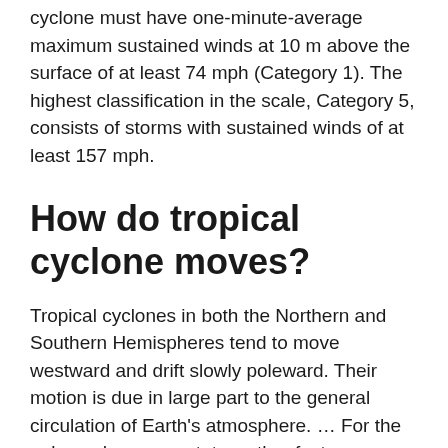to be classified as a hurricane, a tropical cyclone must have one-minute-average maximum sustained winds at 10 m above the surface of at least 74 mph (Category 1). The highest classification in the scale, Category 5, consists of storms with sustained winds of at least 157 mph.
How do tropical cyclone moves?
Tropical cyclones in both the Northern and Southern Hemispheres tend to move westward and drift slowly poleward. Their motion is due in large part to the general circulation of Earth's atmosphere. … For the poleward movement, two other factors are responsible.